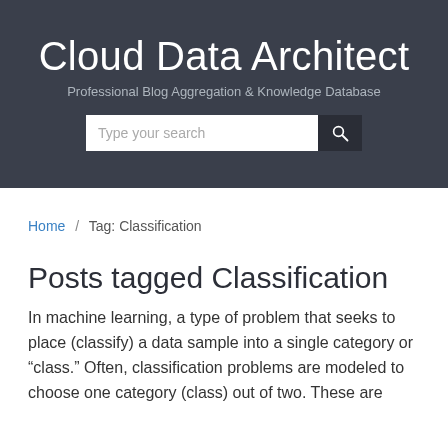Cloud Data Architect
Professional Blog Aggregation & Knowledge Database
Posts tagged Classification
Home / Tag: Classification
In machine learning, a type of problem that seeks to place (classify) a data sample into a single category or “class.” Often, classification problems are modeled to choose one category (class) out of two. These are